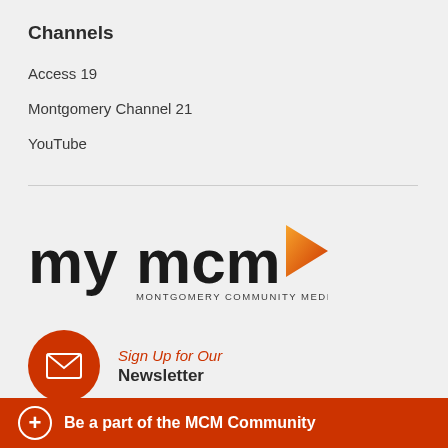Channels
Access 19
Montgomery Channel 21
YouTube
[Figure (logo): mymcm logo with orange play button icon and text MONTGOMERY COMMUNITY MEDIA below]
Sign Up for Our Newsletter
Sign Up for Our
Be a part of the MCM Community